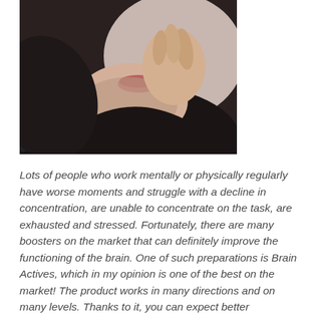[Figure (photo): Close-up photo of a man wearing a black t-shirt, with his hand raised near his mouth in a thoughtful or stressed pose]
Lots of people who work mentally or physically regularly have worse moments and struggle with a decline in concentration, are unable to concentrate on the task, are exhausted and stressed. Fortunately, there are many boosters on the market that can definitely improve the functioning of the brain. One of such preparations is Brain Actives, which in my opinion is one of the best on the market! The product works in many directions and on many levels. Thanks to it, you can expect better